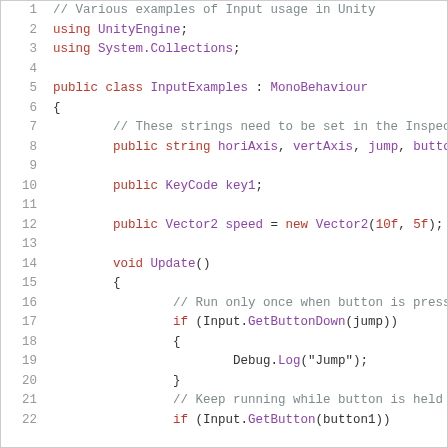[Figure (screenshot): Code editor screenshot showing C# Unity script with syntax highlighting. Lines 1-22 of a file demonstrating various Input usage examples in Unity, including using directives, class declaration, public fields (string, KeyCode, Vector2), and Update method with Input.GetButtonDown and Input.GetButton calls.]